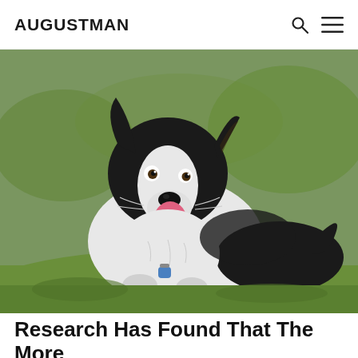AUGUSTMAN
[Figure (photo): A black and white Border Collie dog with tongue out, lying on green grass, wearing a blue tag collar, photographed outdoors with a blurred green background.]
Research Has Found That The More